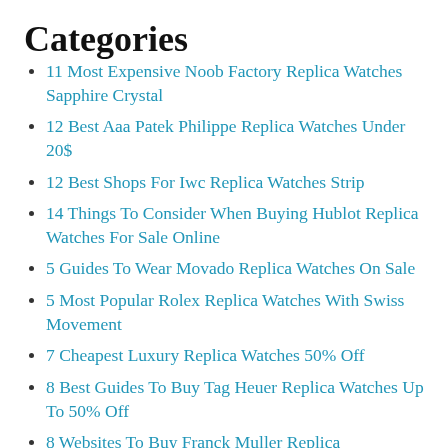Categories
11 Most Expensive Noob Factory Replica Watches Sapphire Crystal
12 Best Aaa Patek Philippe Replica Watches Under 20$
12 Best Shops For Iwc Replica Watches Strip
14 Things To Consider When Buying Hublot Replica Watches For Sale Online
5 Guides To Wear Movado Replica Watches On Sale
5 Most Popular Rolex Replica Watches With Swiss Movement
7 Cheapest Luxury Replica Watches 50% Off
8 Best Guides To Buy Tag Heuer Replica Watches Up To 50% Off
8 Websites To Buy Franck Muller Replica